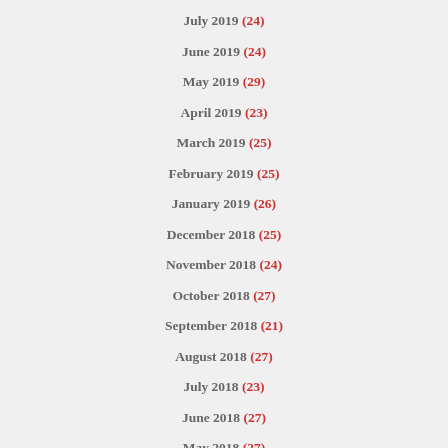July 2019 (24)
June 2019 (24)
May 2019 (29)
April 2019 (23)
March 2019 (25)
February 2019 (25)
January 2019 (26)
December 2018 (25)
November 2018 (24)
October 2018 (27)
September 2018 (21)
August 2018 (27)
July 2018 (23)
June 2018 (27)
May 2018 (27)